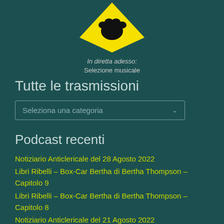[Figure (logo): Yellow warning sign diamond shape with black silhouette of a hand (or cat paw) on dark teal background]
In diretta adesso
Selezione musicale
Tutte le trasmissioni
[Figure (screenshot): Dropdown selector with placeholder text 'Seleziona una categoria' and a chevron arrow]
Podcast recenti
Notiziario Anticlericale del 28 Agosto 2022
Libri Ribelli – Box-Car Bertha di Bertha Thompson – Capitolo 9
Libri Ribelli – Box-Car Bertha di Bertha Thompson – Capitolo 8
Notiziario Anticlericale del 21 Agosto 2022
Libri Ribelli – Box-Car Bertha di Bertha Thompson – Capitolo 7
Stampa Rassegnata 197 Piano Rifiuti 2
Libri Ribelli – Box-Car Bertha di Bertha Thompson – Capitolo 6
Notiziario Anticlericale del 14 Agosto 2022